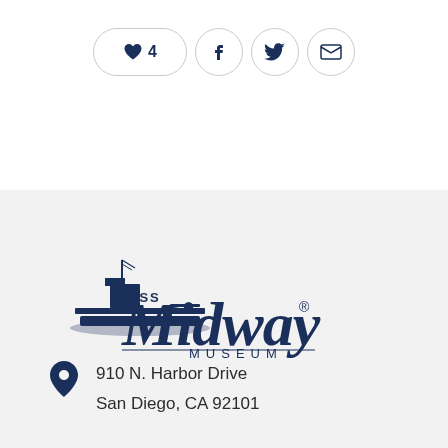[Figure (other): Social sharing bar with heart/likes button showing 4 likes, Facebook icon, Twitter icon, and email icon]
[Figure (logo): USS Midway Museum logo with ship silhouette and large Midway text]
910 N. Harbor Drive
San Diego, CA 92101